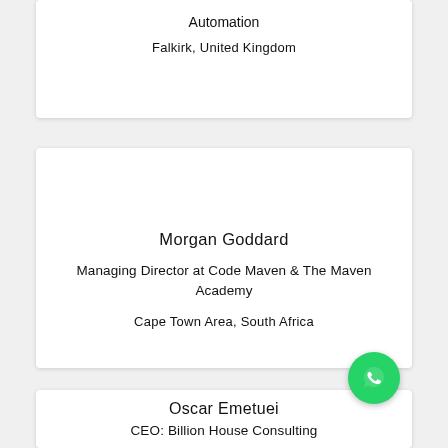Automation
Falkirk, United Kingdom
Morgan Goddard
Managing Director at Code Maven & The Maven Academy
Cape Town Area, South Africa
[Figure (logo): WhatsApp green circular icon with white phone handset]
Oscar Emetuei
CEO: Billion House Consulting